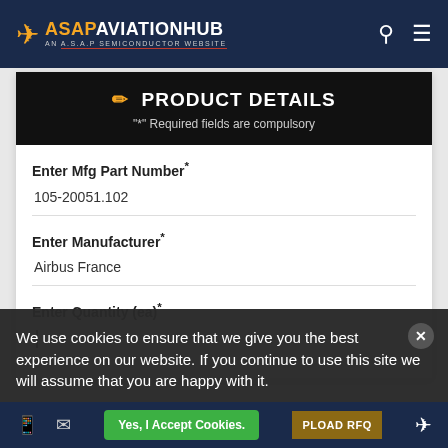ASAP AVIATION HUB — AN A.S.A.P SEMICONDUCTOR WEBSITE
PRODUCT DETAILS — "*" Required fields are compulsory
Enter Mfg Part Number*
105-20051.102
Enter Manufacturer*
Airbus France
Enter Quantity (ea)*
We use cookies to ensure that we give you the best experience on our website. If you continue to use this site we will assume that you are happy with it.
Yes, I Accept Cookies.